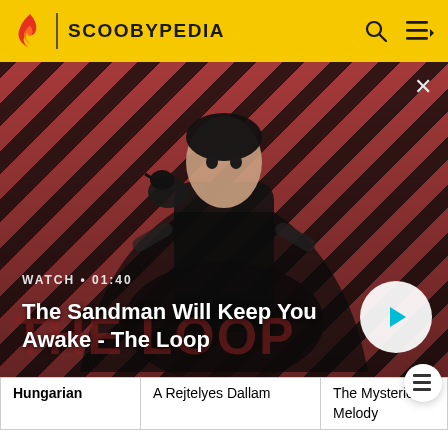SCOOBYPEDIA
[Figure (screenshot): Video banner showing The Sandman character with black cape and raven on shoulder, against red and black diagonal stripe background. Shows 'WATCH • 01:40' and title 'The Sandman Will Keep You Awake - The Loop' with a play button.]
| Hungarian | A Rejtelyes Dallam | The Mysterious Melody |
| Italian | La Canzone del Mistero |  |
| Romanian | Cântecul misterios | The Mysterious Song |